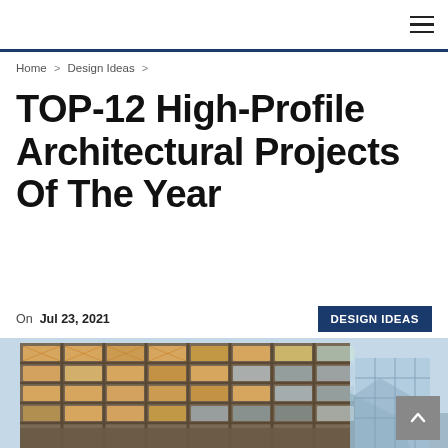Navigation bar with hamburger menu icon
Home > Design Ideas >
TOP-12 High-Profile Architectural Projects Of The Year
On Jul 23, 2021
DESIGN IDEAS
[Figure (photo): Exterior photograph of a multi-story brutalist/modernist building facade with illuminated geometric window panels at dusk, with mountains visible in background]